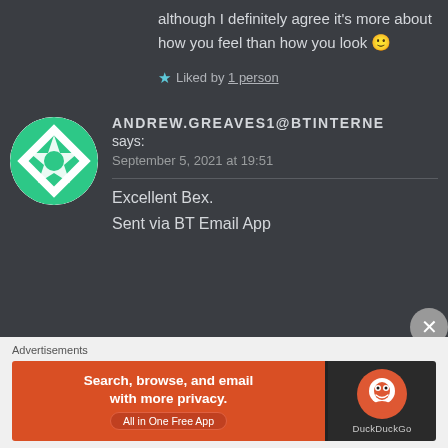although I definitely agree it's more about how you feel than how you look 🙂
★ Liked by 1 person
ANDREW.GREAVES1@BTINTERNE says:
September 5, 2021 at 19:51
Excellent Bex.
Sent via BT Email App
Advertisements
[Figure (screenshot): DuckDuckGo advertisement banner: orange left panel with 'Search, browse, and email with more privacy. All in One Free App' and dark right panel with DuckDuckGo logo and name.]